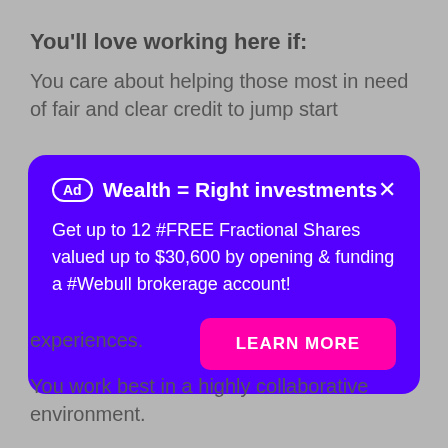You'll love working here if:
You care about helping those most in need of fair and clear credit to jump start
[Figure (infographic): Purple ad overlay card on gray background. Ad badge, title 'Wealth = Right investments', body text about 12 free fractional shares valued up to $30,600, and a pink 'LEARN MORE' button.]
experiences.
You work best in a highly collaborative environment.